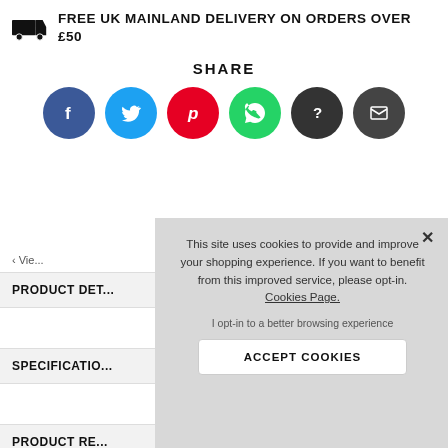FREE UK MAINLAND DELIVERY ON ORDERS OVER £50
SHARE
[Figure (infographic): Six social sharing icons: Facebook (blue), Twitter (light blue), Pinterest (red), WhatsApp (green), unknown/question mark (dark grey), Email (dark grey)]
‹ Vie...
PRODUCT DET...
SPECIFICATIO...
PRODUCT RE...
This site uses cookies to provide and improve your shopping experience. If you want to benefit from this improved service, please opt-in. Cookies Page.
I opt-in to a better browsing experience
ACCEPT COOKIES